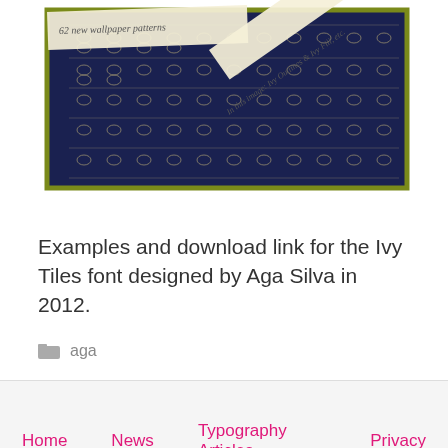[Figure (photo): Photo of Ivy Tiles font wallpaper pattern book/card with decorative navy blue and gold pattern. Text visible: '62 new wallpaper patterns' and 'In this image: Ivy Outlines & Ivy Fill, etc.']
Examples and download link for the Ivy Tiles font designed by Aga Silva in 2012.
aga
Home   News   Typography Articles   Privacy
© All Fonts 2011 - 2022  |  Affiliate Disclosure